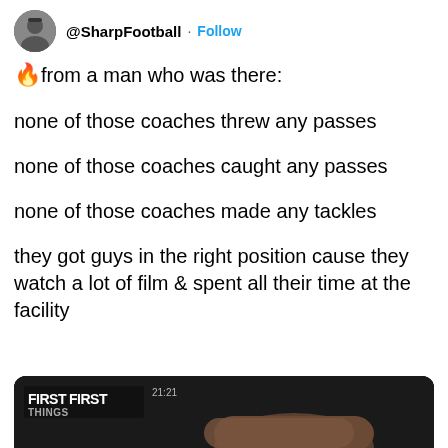@SharpFootball · Follow
🔥from a man who was there:
none of those coaches threw any passes
none of those coaches caught any passes
none of those coaches made any tackles
they got guys in the right position cause they watch a lot of film & spent all their time at the facility
[Figure (screenshot): Video thumbnail showing FIRST THINGS FIRST logo with timestamp 21:21 on dark background with partial view of a person's arm]